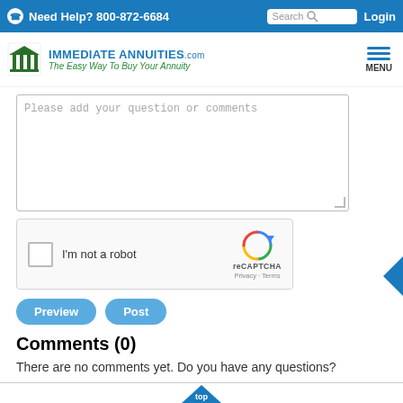Need Help? 800-872-6684  Search  Login
[Figure (logo): ImmediateAnnuities.com logo with green building icon and tagline 'The Easy Way To Buy Your Annuity']
Please add your question or comments
[Figure (other): reCAPTCHA widget with checkbox 'I'm not a robot', Privacy and Terms links]
Preview  Post
Comments (0)
There are no comments yet. Do you have any questions?
top